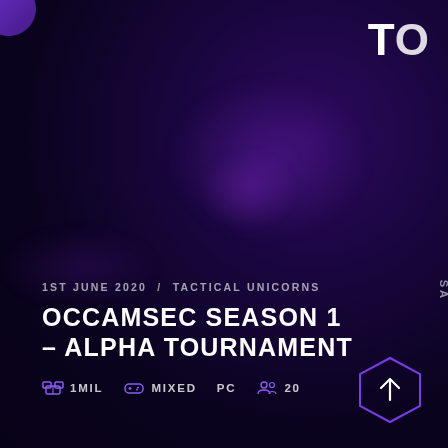[Figure (logo): Dark purple gaming/esports tournament card with background blobs, top-right 'TO' logo, rotated 'SA' text, and a hexagon arrow button]
1ST JUNE 2020  /  TACTICAL UNICORNS
OCCAMSEC SEASON 1 – ALPHA TOURNAMENT
1MIL   MIXED   PC   20